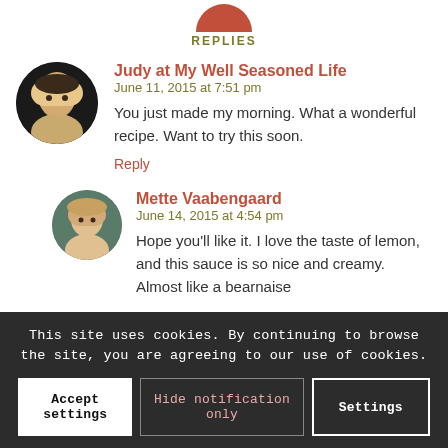[Figure (illustration): Partial orange/red semicircle icon at top, representing a comments/replies button]
REPLIES
Judy at My Well Seasoned Life
June 11, 2015 at 7:51 pm
You just made my morning. What a wonderful recipe. Want to try this soon.
Reply
Mette Vaabengaard
June 14, 2015 at 4:54 pm
Hope you'll like it. I love the taste of lemon, and this sauce is so nice and creamy. Almost like a bearnaise
This site uses cookies. By continuing to browse the site, you are agreeing to our use of cookies.